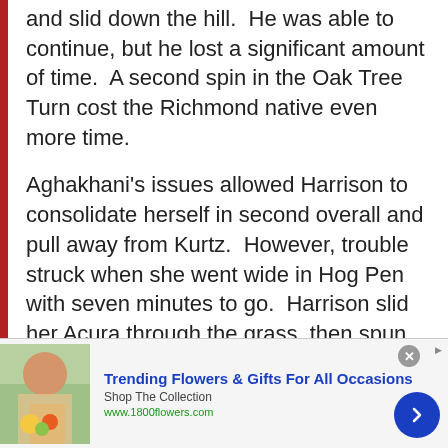and slid down the hill.  He was able to continue, but he lost a significant amount of time.  A second spin in the Oak Tree Turn cost the Richmond native even more time.
Aghakhani's issues allowed Harrison to consolidate herself in second overall and pull away from Kurtz.  However, trouble struck when she went wide in Hog Pen with seven minutes to go.  Harrison slid her Acura through the grass, then spun.  At the time, Harrison had a 5.5 second lead over Kurtz, but that was gone in an instant as Harrison dropped back to seventh in Pro-
[Figure (other): Advertisement banner: Trending Flowers & Gifts For All Occasions - Shop The Collection, www.1800flowers.com, with woman holding flowers image and blue arrow button]